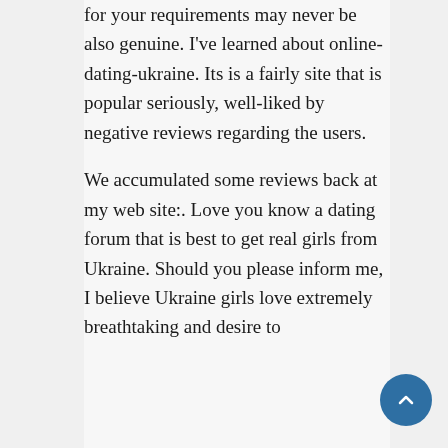for your requirements may never be also genuine. I've learned about online-dating-ukraine. Its is a fairly site that is popular seriously, well-liked by negative reviews regarding the users.
We accumulated some reviews back at my web site:. Love you know a dating forum that is best to get real girls from Ukraine. Should you please inform me, I believe Ukraine girls love extremely breathtaking and desire to